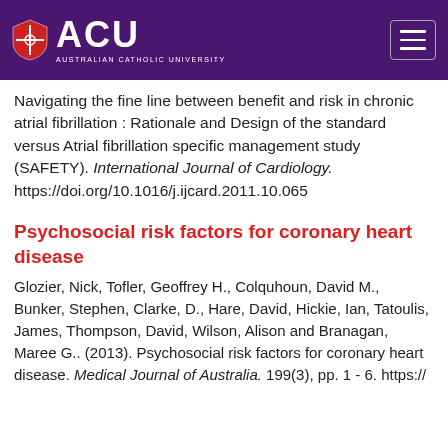[Figure (logo): ACU (Australian Catholic University) logo with shield and white text on purple header background, with hamburger menu icon on the right]
Navigating the fine line between benefit and risk in chronic atrial fibrillation : Rationale and Design of the standard versus Atrial fibrillation specific management study (SAFETY). International Journal of Cardiology. https://doi.org/10.1016/j.ijcard.2011.10.065
Psychosocial risk factors for coronary heart disease
Glozier, Nick, Tofler, Geoffrey H., Colquhoun, David M., Bunker, Stephen, Clarke, D., Hare, David, Hickie, Ian, Tatoulis, James, Thompson, David, Wilson, Alison and Branagan, Maree G.. (2013). Psychosocial risk factors for coronary heart disease. Medical Journal of Australia. 199(3), pp. 1 - 6. https://